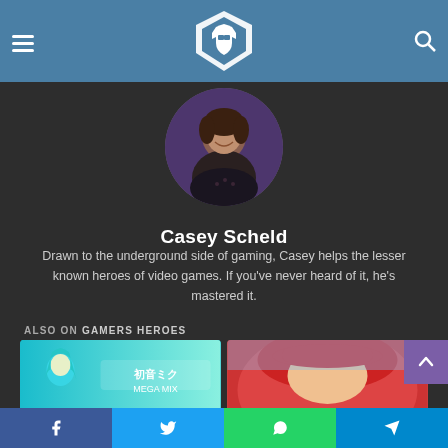Gamers Heroes navigation header with logo and search
[Figure (photo): Circular profile photo of Casey Scheld smiling]
Casey Scheld
Drawn to the underground side of gaming, Casey helps the lesser known heroes of video games. If you've never heard of it, he's mastered it.
ALSO ON GAMERS HEROES
[Figure (photo): Thumbnail of a Hatsune Miku rhythm game (Mega Mix)]
[Figure (photo): Thumbnail of a red character from an anime/game]
Facebook  Twitter  WhatsApp  Telegram social share buttons